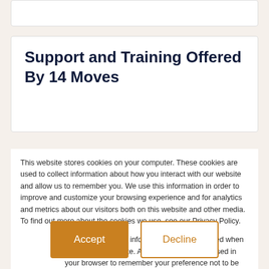Support and Training Offered By 14 Moves
This website stores cookies on your computer. These cookies are used to collect information about how you interact with our website and allow us to remember you. We use this information in order to improve and customize your browsing experience and for analytics and metrics about our visitors both on this website and other media. To find out more about the cookies we use, see our Privacy Policy.
If you decline, your information won't be tracked when you visit this website. A single cookie will be used in your browser to remember your preference not to be tracked.